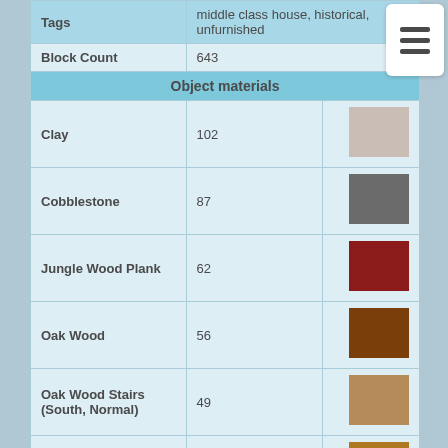|  |  |  |
| --- | --- | --- |
| Tags | middle class house, historical, unfurnished |  |
| Block Count | 643 |  |
| Object materials |  |  |
| Clay | 102 |  |
| Cobblestone | 87 |  |
| Jungle Wood Plank | 62 |  |
| Oak Wood | 56 |  |
| Oak Wood Stairs (South, Normal) | 49 |  |
| Oak Fence | 48 |  |
| Oak Wood Stairs (West, Normal) | 47 |  |
| Oak Wood Stairs | 40 |  |